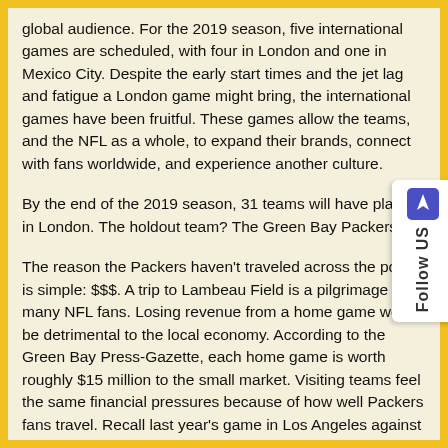global audience. For the 2019 season, five international games are scheduled, with four in London and one in Mexico City. Despite the early start times and the jet lag and fatigue a London game might bring, the international games have been fruitful. These games allow the teams, and the NFL as a whole, to expand their brands, connect with fans worldwide, and experience another culture.
By the end of the 2019 season, 31 teams will have played in London. The holdout team? The Green Bay Packers.
The reason the Packers haven't traveled across the pond is simple: $$$. A trip to Lambeau Field is a pilgrimage for many NFL fans. Losing revenue from a home game would be detrimental to the local economy. According to the Green Bay Press-Gazette, each home game is worth roughly $15 million to the small market. Visiting teams feel the same financial pressures because of how well Packers fans travel. Recall last year's game in Los Angeles against the Rams, where the tide of Green and Gold could fool